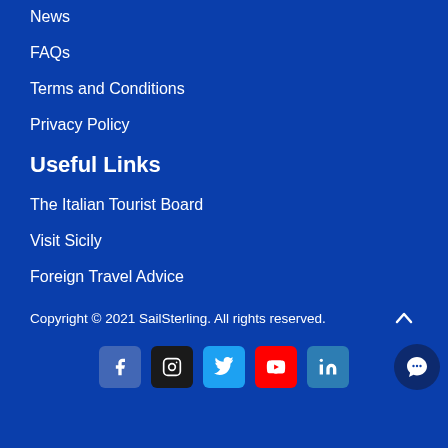News
FAQs
Terms and Conditions
Privacy Policy
Useful Links
The Italian Tourist Board
Visit Sicily
Foreign Travel Advice
Copyright © 2021 SailSterling. All rights reserved.
[Figure (other): Social media icons: Facebook, Instagram, Twitter, YouTube, LinkedIn, and a chat button]